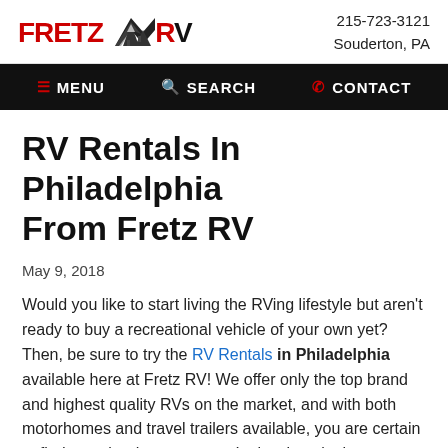FRETZ RV | 215-723-3121 Souderton, PA
≡ MENU  🔍 SEARCH  📞 CONTACT
RV Rentals In Philadelphia From Fretz RV
May 9, 2018
Would you like to start living the RVing lifestyle but aren't ready to buy a recreational vehicle of your own yet? Then, be sure to try the RV Rentals in Philadelphia available here at Fretz RV! We offer only the top brand and highest quality RVs on the market, and with both motorhomes and travel trailers available, you are certain to find exactly what you want. Let's take a look